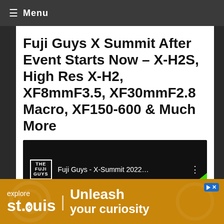≡ Menu
Fuji Guys X Summit After Event Starts Now – X-H2S, High Res X-H2, XF8mmF3.5, XF30mmF2.8 Macro, XF150-600 & Much More
[Figure (screenshot): Video thumbnail for Fuji Guys - X-Summit 2022 on YouTube, showing the Fuji Guys channel logo, video title, and FUJIFILM X|GFX branding with green swoosh decoration]
[Figure (infographic): Advertisement banner for Explore St. Louis with text 'explore st.louis | Unleash your curiosity' on an orange/golden background with gear imagery]